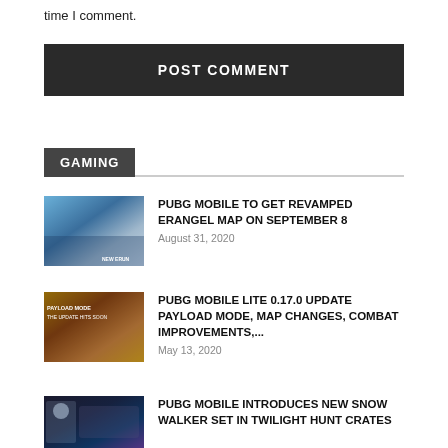time I comment.
POST COMMENT
GAMING
PUBG MOBILE TO GET REVAMPED ERANGEL MAP ON SEPTEMBER 8
August 31, 2020
PUBG MOBILE LITE 0.17.0 UPDATE PAYLOAD MODE, MAP CHANGES, COMBAT IMPROVEMENTS,...
May 13, 2020
PUBG MOBILE INTRODUCES NEW SNOW WALKER SET IN TWILIGHT HUNT CRATES